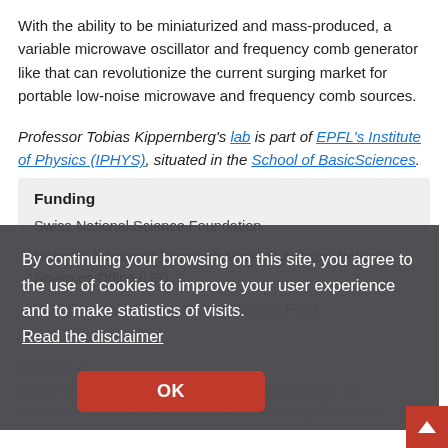With the ability to be miniaturized and mass-produced, a variable microwave oscillator and frequency comb generator like that can revolutionize the current surging market for portable low-noise microwave and frequency comb sources.
Professor Tobias Kippernberg's lab is part of EPFL's Institute of Physics (IPHYS), situated in the School of Basic Sciences.
Funding
Swiss National Science Foundation
Defense Advanced Research Projects Agency, Defense Sciences Office (US)
SER/European Regional Development Fund
References
Wenle Weng, Aleksandra Kaszubowska-Anandarajah, Jia Liu, Prince M. Anandarajah, Tobias J. Kippenberg, Frequency...
[Figure (screenshot): Cookie consent banner overlay with dark semi-transparent background. Text: 'By continuing your browsing on this site, you agree to the use of cookies to improve your user experience and to make statistics of visits.' with a 'Read the disclaimer' link and an OK button in red.]